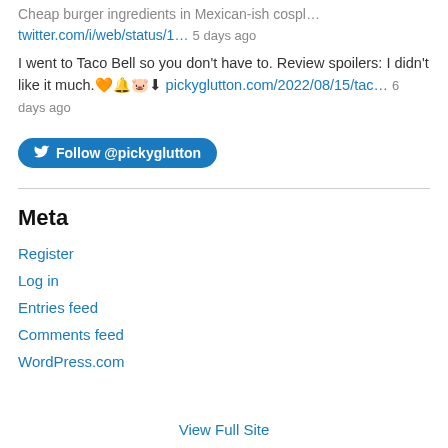Cheap burger ingredients in Mexican-ish cospl…
twitter.com/i/web/status/1… 5 days ago
I went to Taco Bell so you don't have to. Review spoilers: I didn't like it much.🧡🔔🐷⬇ pickyglutton.com/2022/08/15/tac… 6 days ago
Follow @pickyglutton
Meta
Register
Log in
Entries feed
Comments feed
WordPress.com
View Full Site